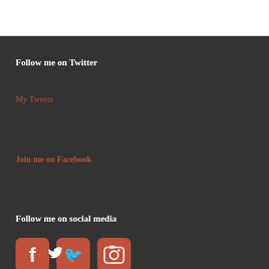Follow me on Twitter
My Tweets
Join me on Facebook
Follow me on social media
[Figure (infographic): Three social media icon buttons: Facebook (f), Twitter (bird), Instagram (camera), each in rounded red squares]